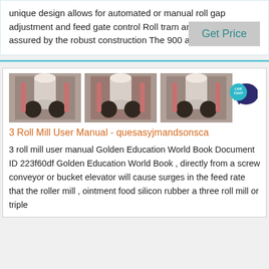unique design allows for automated or manual roll gap adjustment and feed gate control Roll tram and uniformity are assured by the robust construction The 900 and 999
[Figure (illustration): Live chat speech bubble badge icon in teal/dark blue]
Get Price
[Figure (photo): Three side-by-side photos of a 3-roll mill machinery component showing rollers and mechanical parts]
3 Roll Mill User Manual - quesasyjmandsonsca
3 roll mill user manual Golden Education World Book Document ID 223f60df Golden Education World Book , directly from a screw conveyor or bucket elevator will cause surges in the feed rate that the roller mill , ointment food silicon rubber a three roll mill or triple